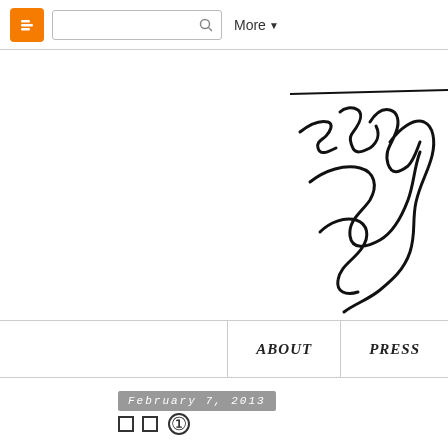Blogger navigation bar with search and More button
[Figure (logo): Blog logo in cursive/script handwriting showing 'The J' partially cropped, with a horizontal line above]
[Figure (screenshot): Navigation bar with ABOUT and PRESS links]
February 7, 2013
□□ ①
[Figure (photo): Partial photograph showing a light grey background with a dark blurred figure on the right side]